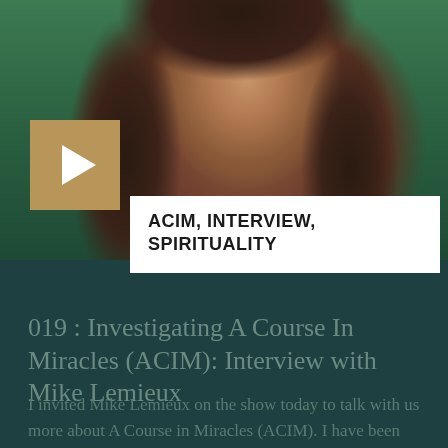[Figure (photo): Photo of a man with long dark hair and beard, wearing a blue jacket, outdoors with green foliage background. A gold/tan play button overlay is in the upper left of the image area.]
ACIM, INTERVIEW, SPIRITUALITY
019 : Investigating A Course In Miracles (ACIM): Interview with Mike Lemieux
I invited Mike Lemieux on the show today to talk with us more about A Course in Miracles (ACIM). I have been studying the